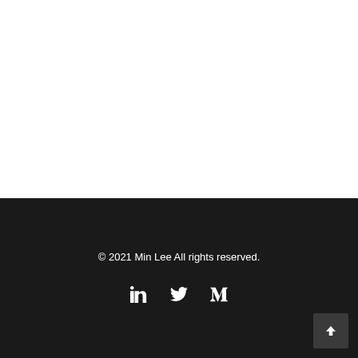© 2021 Min Lee All rights reserved.
[Figure (illustration): Social media icons: LinkedIn (in), Twitter (bird), Medium (M)]
[Figure (illustration): Back to top button with upward chevron arrow]